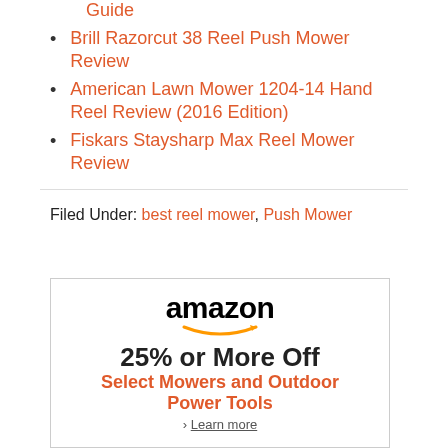Guide
Brill Razorcut 38 Reel Push Mower Review
American Lawn Mower 1204-14 Hand Reel Review (2016 Edition)
Fiskars Staysharp Max Reel Mower Review
Filed Under: best reel mower, Push Mower
[Figure (infographic): Amazon advertisement: 25% or More Off Select Mowers and Outdoor Power Tools. Learn more.]